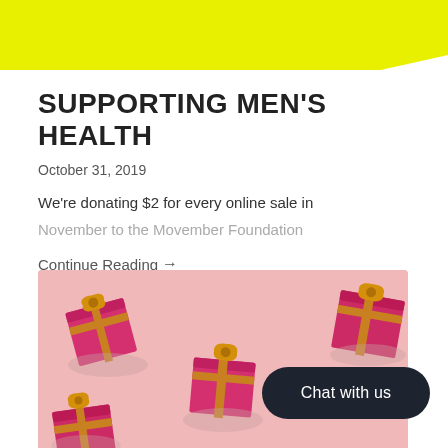[Figure (illustration): Yellow-green decorative bar at the top of the page, trapezoid shaped]
SUPPORTING MEN'S HEALTH
October 31, 2019
We're donating $2 for every online sale in November to the Movember Foundation
Continue Reading →
[Figure (photo): Photo of multiple shiny pink/magenta gift boxes with gold ribbon bows on a pink background]
Chat with us